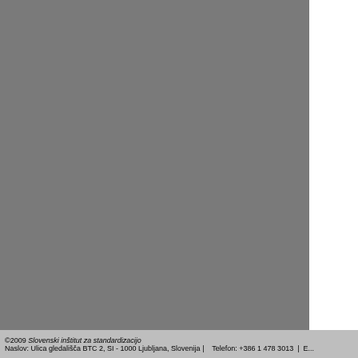basic dimensions ... designed to conne... cells commonly use...
Povezava na standarde
| Povezava | Ime |
| --- | --- |
| Nadomeščen z | SIST EN IEC 61228:2021 - Fluores... sončenje - Merjenje in specifikacijs... |
| Nadomeščen z | SIST EN IEC 61228:2021 - Fluores... sončenje - Merjenje in specifikacijs... |
| Nadomešča | SIST EN 61228:2001 - Method of r... ultraviolet lamps used for sun-tannin... |
| Nadomešča | SIST EN 61228:2001 - Method of r... ultraviolet lamps used for sun-tannin... |
| Nadomešča | SIST EN 61228:2001/A1:2001 - Me... radiation of ultraviolet lamps used f... |
| Revidiran | SIST EN IEC 61228:2021 - Fluores... sončenje - Merjenje in specifikacijs... |
Slovenski standardi SIST s cenovnim razredom... brezplačni.
Slovenski standardi SIST s cenovnim razredom... izvirni standard, ki ga moramo pridobiti pri izdaj...
©2009 Slovenski inštitut za standardizacijo
Naslov: Ulica gledališča BTC 2, SI - 1000 Ljubljana, Slovenija |    Telefon: +386 1 478 3013  |  E...